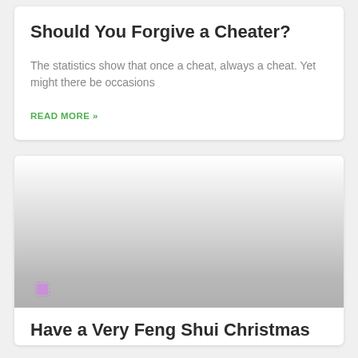Should You Forgive a Cheater?
The statistics show that once a cheat, always a cheat. Yet might there be occasions
READ MORE »
[Figure (photo): A faded/blurred image placeholder with a gradient from white to gray, with a small purple dotted icon in the lower left corner.]
Have a Very Feng Shui Christmas